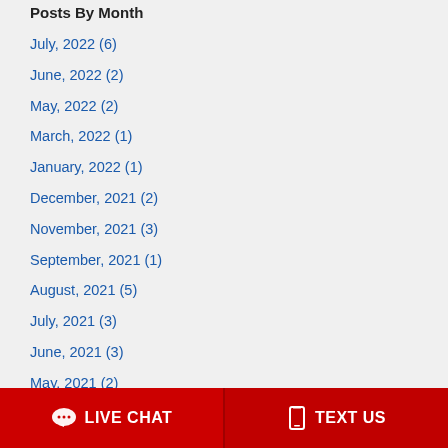Posts By Month
July, 2022  (6)
June, 2022  (2)
May, 2022  (2)
March, 2022  (1)
January, 2022  (1)
December, 2021  (2)
November, 2021  (3)
September, 2021  (1)
August, 2021  (5)
July, 2021  (3)
June, 2021  (3)
May, 2021  (2)
April, 2021  (4)
LIVE CHAT   TEXT US